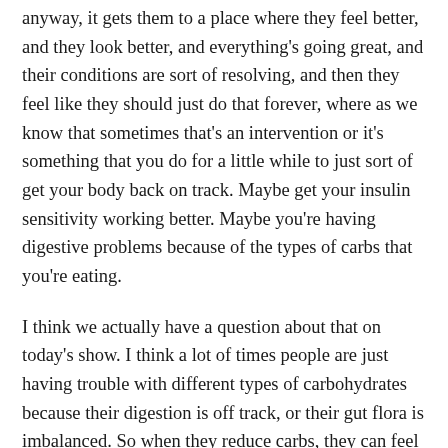anyway, it gets them to a place where they feel better, and they look better, and everything's going great, and their conditions are sort of resolving, and then they feel like they should just do that forever, where as we know that sometimes that's an intervention or it's something that you do for a little while to just sort of get your body back on track. Maybe get your insulin sensitivity working better. Maybe you're having digestive problems because of the types of carbs that you're eating.
I think we actually have a question about that on today's show. I think a lot of times people are just having trouble with different types of carbohydrates because their digestion is off track, or their gut flora is imbalanced. So when they reduce carbs, they can feel better for a while, and then it can kind of backfire that they don't feel great because then they're not feeding their gut bacteria anymore after a certain period of time, and I think that period of